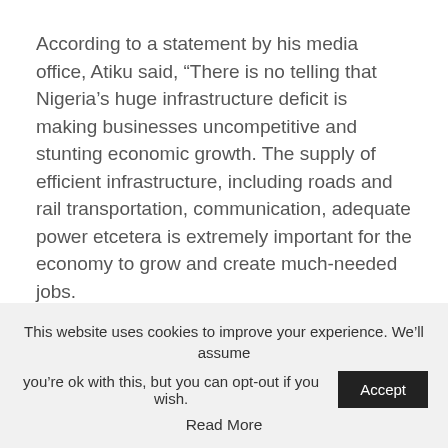According to a statement by his media office, Atiku said, “There is no telling that Nigeria’s huge infrastructure deficit is making businesses uncompetitive and stunting economic growth. The supply of efficient infrastructure, including roads and rail transportation, communication, adequate power etcetera is extremely important for the economy to grow and create much-needed jobs.
“Therefore, to build the economy of our dreams, we must increase the stock and improve the quality of our infrastructure. Inadequate infrastructure has been
This website uses cookies to improve your experience. We’ll assume you’re ok with this, but you can opt-out if you wish.
Read More